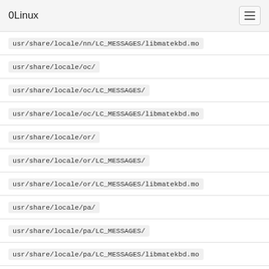0Linux
usr/share/locale/nn/LC_MESSAGES/libmatekbd.mo
usr/share/locale/oc/
usr/share/locale/oc/LC_MESSAGES/
usr/share/locale/oc/LC_MESSAGES/libmatekbd.mo
usr/share/locale/or/
usr/share/locale/or/LC_MESSAGES/
usr/share/locale/or/LC_MESSAGES/libmatekbd.mo
usr/share/locale/pa/
usr/share/locale/pa/LC_MESSAGES/
usr/share/locale/pa/LC_MESSAGES/libmatekbd.mo